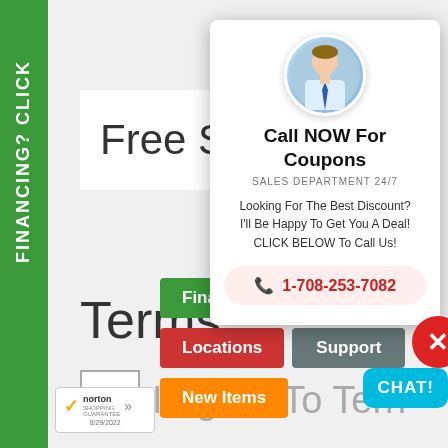FINANCING? CLICK
Free S
Terms
I Agree To Terms
[Figure (screenshot): Popup modal with sales agent avatar, 'Call NOW For Coupons' heading, phone number 1-708-253-7082]
Call NOW For Coupons
SALES DEPARTMENT 24/7
Looking For The Best Discount? I'll Be Happy To Get You A Deal! CLICK BELOW To Call Us!
1-708-253-7082
Financing?
Make Offer
Locations
Support
New Items
[Figure (logo): Norton Shopping Guarantee badge dated 8/29/2022]
CHAT!